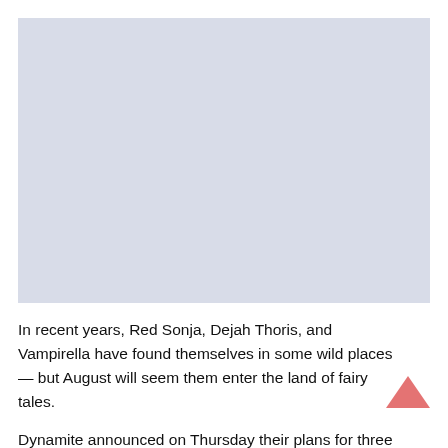[Figure (other): Large image placeholder area (white/light gray background) occupying the upper portion of the page]
In recent years, Red Sonja, Dejah Thoris, and Vampirella have found themselves in some wild places — but August will seem them enter the land of fairy tales.
Dynamite announced on Thursday their plans for three special one-shot comics which see each of the
[Figure (illustration): Small red/pink upward-pointing chevron or scroll-to-top arrow icon in the bottom-right area]